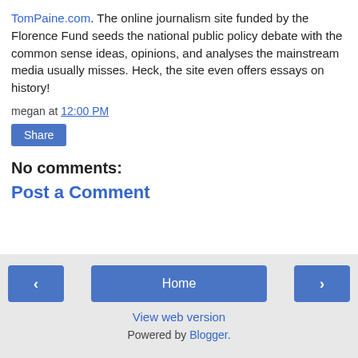TomPaine.com. The online journalism site funded by the Florence Fund seeds the national public policy debate with the common sense ideas, opinions, and analyses the mainstream media usually misses. Heck, the site even offers essays on history!
megan at 12:00 PM
Share
No comments:
Post a Comment
‹  Home  ›  View web version  Powered by Blogger.